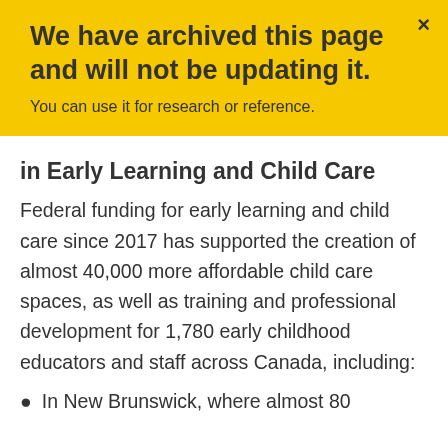We have archived this page and will not be updating it.
You can use it for research or reference.
in Early Learning and Child Care
Federal funding for early learning and child care since 2017 has supported the creation of almost 40,000 more affordable child care spaces, as well as training and professional development for 1,780 early childhood educators and staff across Canada, including:
In New Brunswick, where almost 80